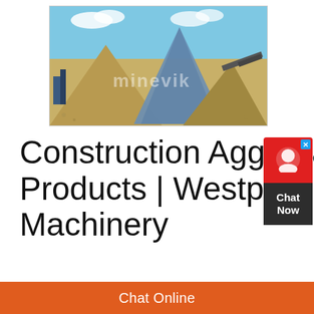[Figure (photo): Photograph of a quarry/aggregate processing site with large piles of sand and gravel, conveyor structures, heavy machinery, blue sky background, and a watermark reading 'minevik']
Construction Aggregate Products | Westpro Machinery
Construction aggregate, or simply “aggregate”, is a broad category of coarse particulate material used in construction, including sand, gravel, crushed stone, slag, recycled concrete and geosynthetic aggregates Aggregates are the most mined materials in the world Aggregates are a component of composite materials that
[Figure (other): Chat widget with red top section showing chat icon and blue X close button, dark bottom section with 'Chat Now' text]
Chat Online